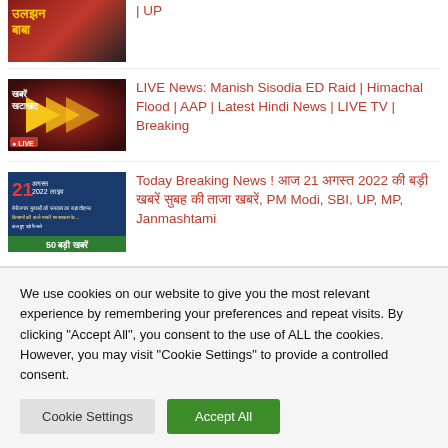[Figure (screenshot): Thumbnail image - news video screenshot with Hindi text उलझन बाबा and UP]
| UP
[Figure (screenshot): Thumbnail image - Khabre Khatakhat LIVE news broadcast thumbnail]
LIVE News: Manish Sisodia ED Raid | Himachal Flood | AAP | Latest Hindi News | LIVE TV | Breaking
[Figure (screenshot): Thumbnail image - Today Breaking News 21 August 2022 with 50 big news]
Today Breaking News ! आज 21 अगस्त 2022 की बड़ी खबरें सुबह की ताजा खबरें, PM Modi, SBI, UP, MP, Janmashtami
We use cookies on our website to give you the most relevant experience by remembering your preferences and repeat visits. By clicking "Accept All", you consent to the use of ALL the cookies. However, you may visit "Cookie Settings" to provide a controlled consent.